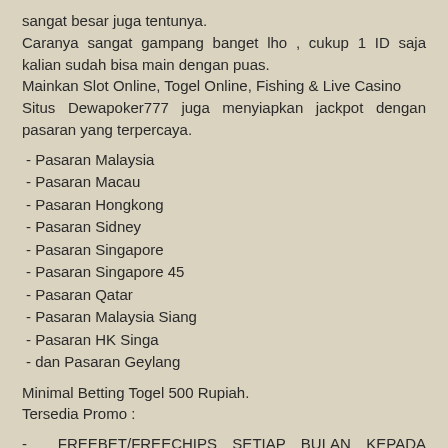sangat besar juga tentunya. Caranya sangat gampang banget lho , cukup 1 ID saja kalian sudah bisa main dengan puas. Mainkan Slot Online, Togel Online, Fishing & Live Casino Situs Dewapoker777 juga menyiapkan jackpot dengan pasaran yang terpercaya.
- Pasaran Malaysia
- Pasaran Macau
- Pasaran Hongkong
- Pasaran Sidney
- Pasaran Singapore
- Pasaran Singapore 45
- Pasaran Qatar
- Pasaran Malaysia Siang
- Pasaran HK Singa
- dan Pasaran Geylang
Minimal Betting Togel 500 Rupiah.
Tersedia Promo :
- FREEBET/FREECHIPS SETIAP BULAN KEPADA RATUSAN MEMBER [ DEPOSIT DAN RE-DEPOSIT ]